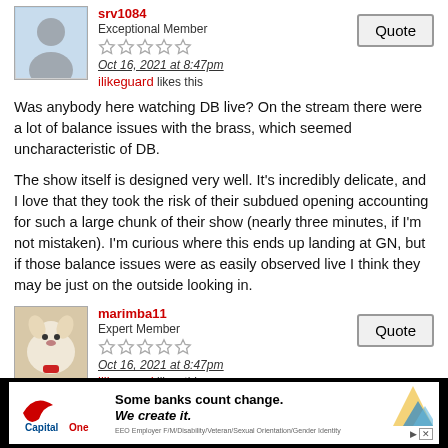srv1084
Exceptional Member
Oct 16, 2021 at 8:47pm
ilikeguard likes this
Was anybody here watching DB live? On the stream there were a lot of balance issues with the brass, which seemed uncharacteristic of DB.
The show itself is designed very well. It's incredibly delicate, and I love that they took the risk of their subdued opening accounting for such a large chunk of their show (nearly three minutes, if I'm not mistaken). I'm curious where this ends up landing at GN, but if those balance issues were as easily observed live I think they may be just on the outside looking in.
marimba11
Expert Member
Oct 16, 2021 at 8:47pm
ilikeguard likes this
Not my favorite DB show but it is a show the members seem to really enjoy it. Very ethereal ... but I just really think anything copland should be retired!
[Figure (screenshot): Capital One advertisement banner: 'Some banks count change. We create it.' with Capital One logo and decorative arrow graphics]